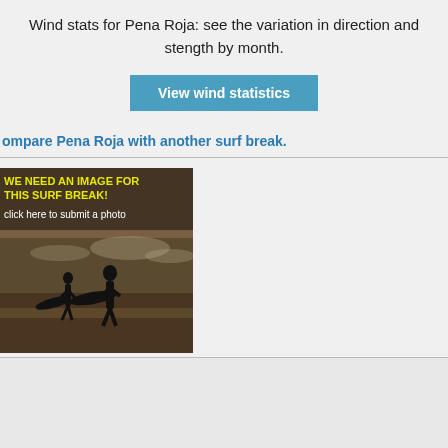Wind stats for Pena Roja: see the variation in direction and stength by month.
View wind statistics
ompare Pena Roja with another surf break.
[Figure (photo): Silhouette of two surfers carrying surfboards walking along a beach with waves in background. Overlay text: 'WE NEED AN IMAGE FOR THIS SURF BREAK! click here to submit a photo']
Pena Roja Location Maps